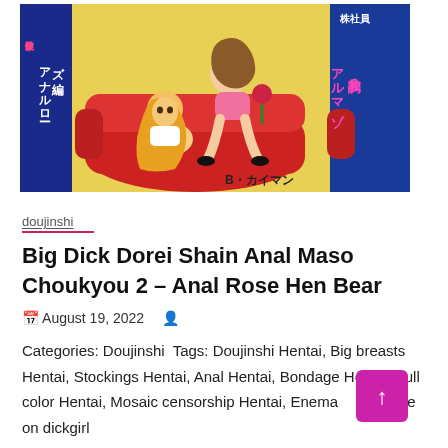[Figure (illustration): Manga/doujinshi cover art showing two anime-style female characters on a red couch, with Japanese text and author name B·カイマン]
doujinshi
Big Dick Dorei Shain Anal Maso Choukyou 2 – Anal Rose Hen Bear
August 19, 2022
Categories: Doujinshi Tags: Doujinshi Hentai, Big breasts Hentai, Stockings Hentai, Anal Hentai, Bondage Hentai, Full color Hentai, Mosaic censorship Hentai, Enema Hentai, Male on dickgirl